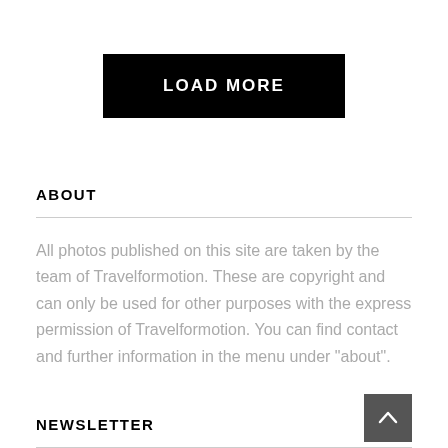[Figure (other): Black button with white bold uppercase text 'LOAD MORE']
ABOUT
All photos published on this site are taken by the team of Travelformotion. These are copyright and can only be used for other purposes with the express permission of Travelformotion. You can find contact and further information in the menu under "about".
NEWSLETTER